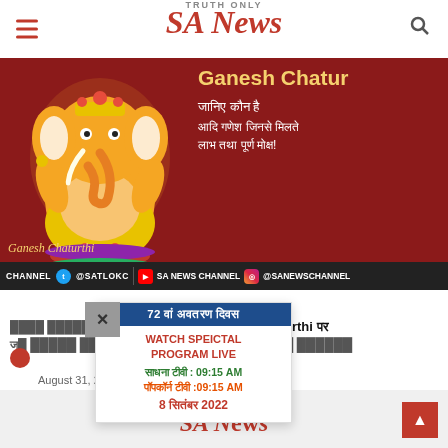SA News — TRUTH ONLY
[Figure (illustration): Ganesh Chaturthi banner with illustration of Lord Ganesha on red background, Hindi text: जानिए कौन है आदि गणश जिनसे मिलते लाभ तथा पूर्ण मोक्ष!, Ganesh Chaturthi script text, and social media channel bar at bottom]
Ganesh Chaturthi [Hindi]: Ganesh Chaturthi पर जानिए कौन है आदि गणेश जिनसे मिलते लाभ तथा पूर्ण मोक्ष
72 वां अवतरण दिवस
WATCH SPEICTAL PROGRAM LIVE
साधना टीवी : 09:15 AM
पॉपकॉर्न टीवी :09:15 AM
8 सितंबर 2022
August 31, 2022
SA News — TRUTH ONLY